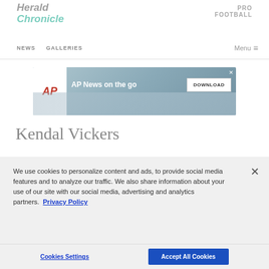Herald Chronicle | PRO FOOTBALL | NEWS | GALLERIES | Menu
[Figure (screenshot): AP News on the go advertisement banner with AP logo, headline text, and DOWNLOAD button]
Kendal Vickers
We use cookies to personalize content and ads, to provide social media features and to analyze our traffic. We also share information about your use of our site with our social media, advertising and analytics partners. Privacy Policy
Cookies Settings | Accept All Cookies